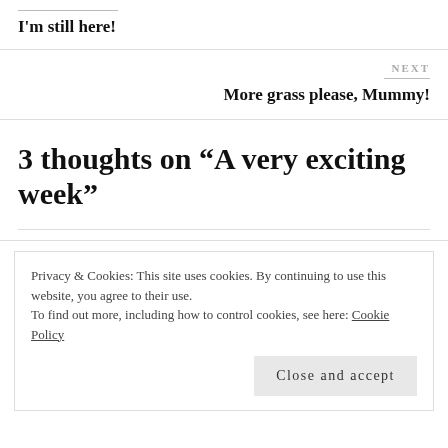I'm still here!
NEXT
More grass please, Mummy!
3 thoughts on “A very exciting week”
Privacy & Cookies: This site uses cookies. By continuing to use this website, you agree to their use.
To find out more, including how to control cookies, see here: Cookie Policy
Close and accept